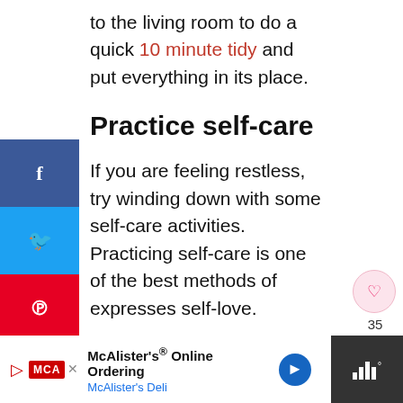to the living room to do a quick 10 minute tidy and put everything in its place.
Practice self-care
If you are feeling restless, try winding down with some self-care activities. Practicing self-care is one of the best methods of expresses self-love.